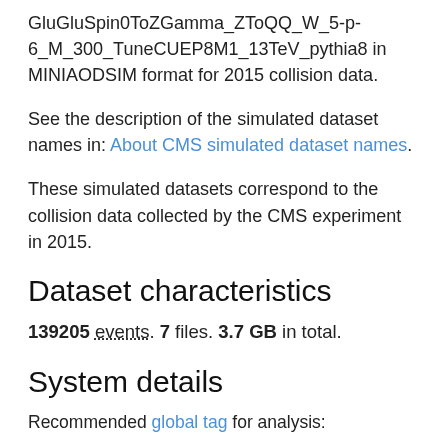GluGluSpin0ToZGamma_ZToQQ_W_5-p-6_M_300_TuneCUEP8M1_13TeV_pythia8 in MINIAODSIM format for 2015 collision data.
See the description of the simulated dataset names in: About CMS simulated dataset names.
These simulated datasets correspond to the collision data collected by the CMS experiment in 2015.
Dataset characteristics
139205 events. 7 files. 3.7 GB in total.
System details
Recommended global tag for analysis:
76X_mcRun2_asymptotic_RunIIFall15DR76_v1